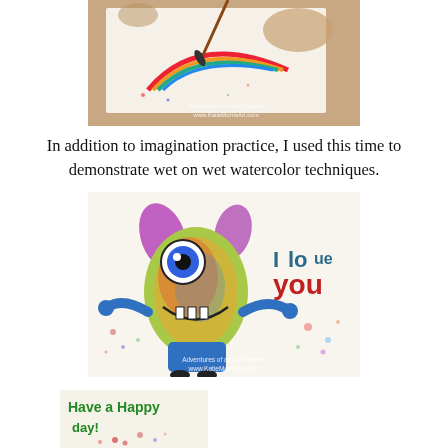[Figure (photo): Close-up photo of a child painting a watercolor image with a brush on white paper. The paper shows a colorful drawing. Watermark reads 'Adventures of an Art Teacher www.KatieMorrisArt.com']
In addition to imagination practice, I used this time to demonstrate wet on wet watercolor techniques.
[Figure (photo): Child's colorful monster drawing with text 'I love you'. The monster has one large eye, purple ears, rainbow colored body, blue arms and legs, on a watercolor splattered background. Watermark reads 'Adventures of an Art Teacher www.KatieMorrisArt.com']
[Figure (photo): Partial photo of a child's drawing with text 'Have a Happy day!' in green and red with watercolor splatters]